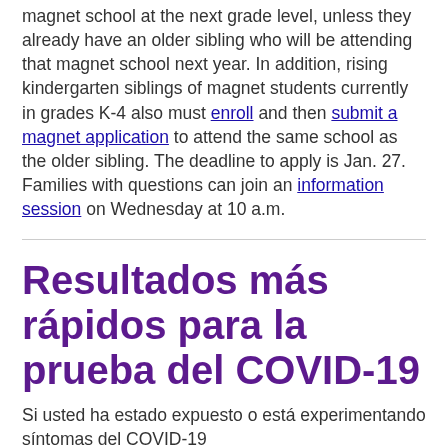magnet school at the next grade level, unless they already have an older sibling who will be attending that magnet school next year. In addition, rising kindergarten siblings of magnet students currently in grades K-4 also must enroll and then submit a magnet application to attend the same school as the older sibling. The deadline to apply is Jan. 27. Families with questions can join an information session on Wednesday at 10 a.m.
Resultados más rápidos para la prueba del COVID-19
Si usted ha estado expuesto o está experimentando síntomas del COVID-19...